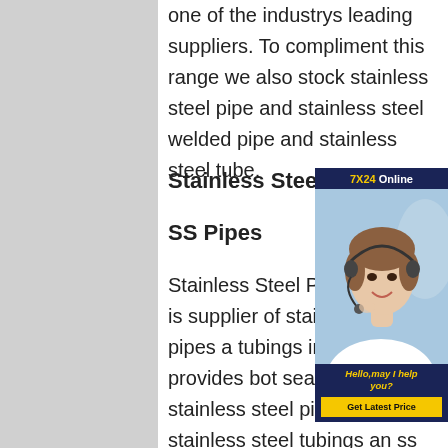one of the industrys leading suppliers. To compliment this range we also stock stainless steel pipe and stainless steel welded pipe and stainless steel tube.
Stainless Steel Pipes Duplex Stee
SS Pipes
Stainless Steel Pipes. Kaysuns is supplier of stainless steel pipes a tubings in China, we provides bot seamless stainless steel pipes ar welded stainless steel tubings an ss pipes.Austenitic stainless steel has austenite as its primary phase, our product covers full 300 series and duplex stainless steel, nickel-based alloy and super austenitic stainless steel etc.Stainless Steel Sheet - Power Steel
[Figure (photo): Customer service representative wearing a headset, smiling. Widget shows '7X24 Online' header in dark blue/yellow, photo of agent, 'Hello,may I help you?' in yellow italic text, and a 'Get Latest Price' yellow button.]